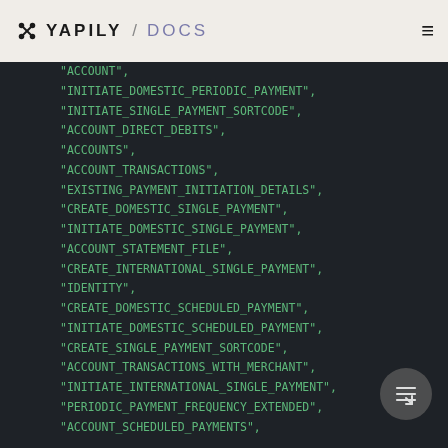YAPILY / DOCS
"ACCOUNT",
"INITIATE_DOMESTIC_PERIODIC_PAYMENT",
"INITIATE_SINGLE_PAYMENT_SORTCODE",
"ACCOUNT_DIRECT_DEBITS",
"ACCOUNTS",
"ACCOUNT_TRANSACTIONS",
"EXISTING_PAYMENT_INITIATION_DETAILS",
"CREATE_DOMESTIC_SINGLE_PAYMENT",
"INITIATE_DOMESTIC_SINGLE_PAYMENT",
"ACCOUNT_STATEMENT_FILE",
"CREATE_INTERNATIONAL_SINGLE_PAYMENT",
"IDENTITY",
"CREATE_DOMESTIC_SCHEDULED_PAYMENT",
"INITIATE_DOMESTIC_SCHEDULED_PAYMENT",
"CREATE_SINGLE_PAYMENT_SORTCODE",
"ACCOUNT_TRANSACTIONS_WITH_MERCHANT",
"INITIATE_INTERNATIONAL_SINGLE_PAYMENT",
"PERIODIC_PAYMENT_FREQUENCY_EXTENDED",
"ACCOUNT_SCHEDULED_PAYMENTS",